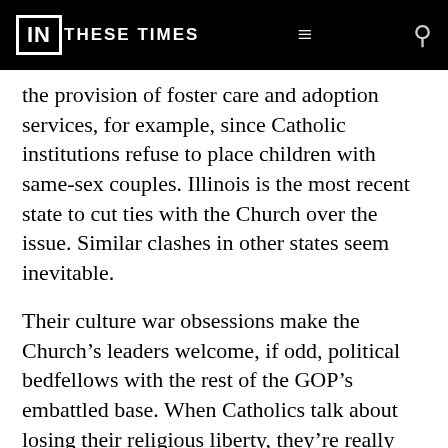IN THESE TIMES
the provision of foster care and adoption services, for example, since Catholic institutions refuse to place children with same-sex couples. Illinois is the most recent state to cut ties with the Church over the issue. Similar clashes in other states seem inevitable.
Their culture war obsessions make the Church’s leaders welcome, if odd, political bedfellows with the rest of the GOP’s embattled base. When Catholics talk about losing their religious liberty, they’re really talking about feeling alienated for adhering to beliefs that, just a generation ago, were perfectly within the mainstream.